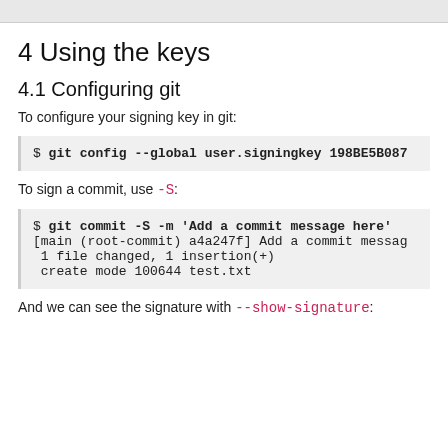4 Using the keys
4.1 Configuring git
To configure your signing key in git:
$ git config --global user.signingkey 198BE5B087
To sign a commit, use -S:
$ git commit -S -m 'Add a commit message here'
[main (root-commit) a4a247f] Add a commit message
 1 file changed, 1 insertion(+)
 create mode 100644 test.txt
And we can see the signature with --show-signature: